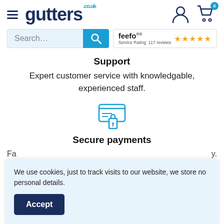[Figure (logo): Gutters.co.uk logo with hamburger menu, user icon, and cart icon with badge '0']
[Figure (screenshot): Search bar with blue search button and Feefo 4.5-star rating badge showing 117 reviews]
Support
Expert customer service with knowledgable, experienced staff.
[Figure (illustration): Secure payment icon: credit card with padlock]
Secure payments
We use cookies, just to track visits to our website, we store no personal details.
Accept